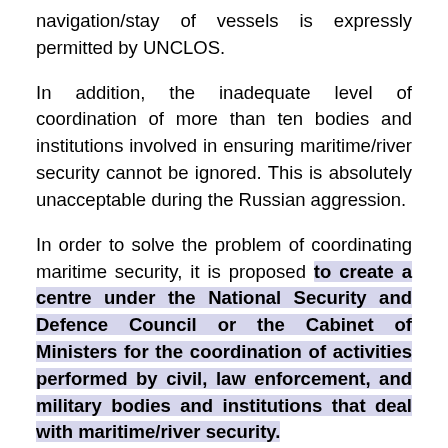navigation/stay of vessels is expressly permitted by UNCLOS.
In addition, the inadequate level of coordination of more than ten bodies and institutions involved in ensuring maritime/river security cannot be ignored. This is absolutely unacceptable during the Russian aggression.
In order to solve the problem of coordinating maritime security, it is proposed to create a centre under the National Security and Defence Council or the Cabinet of Ministers for the coordination of activities performed by civil, law enforcement, and military bodies and institutions that deal with maritime/river security.
Ukraine should address NATO and the USA with a